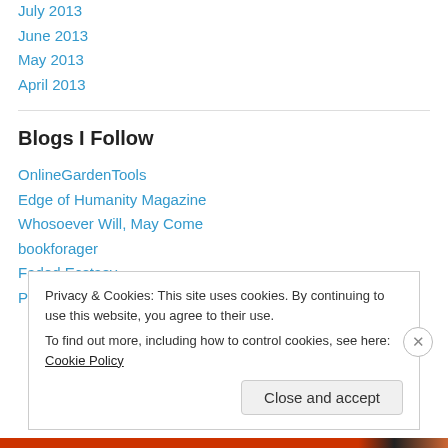July 2013
June 2013
May 2013
April 2013
Blogs I Follow
OnlineGardenTools
Edge of Humanity Magazine
Whosoever Will, May Come
bookforager
Faded Ecstasy
Puppies and Pooches
Privacy & Cookies: This site uses cookies. By continuing to use this website, you agree to their use.
To find out more, including how to control cookies, see here: Cookie Policy
Close and accept